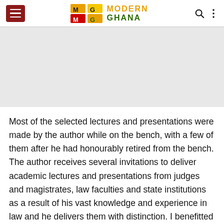Modern Ghana
[Figure (other): Gray advertisement or image placeholder area]
Most of the selected lectures and presentations were made by the author while on the bench, with a few of them after he had honourably retired from the bench. The author receives several invitations to deliver academic lectures and presentations from judges and magistrates, law faculties and state institutions as a result of his vast knowledge and experience in law and he delivers them with distinction. I benefitted from his presentations and lectures when I was the Director of